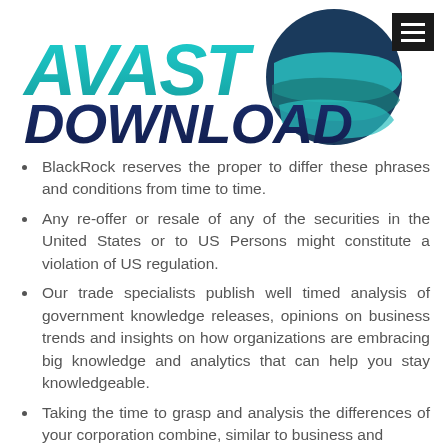[Figure (logo): Avast Download logo with stylized teal and navy text reading AVAST DOWNLOAD and a circular globe-like icon in teal and navy blue on the right. A hamburger menu icon (three horizontal lines on black background) appears at the top right.]
BlackRock reserves the proper to differ these phrases and conditions from time to time.
Any re-offer or resale of any of the securities in the United States or to US Persons might constitute a violation of US regulation.
Our trade specialists publish well timed analysis of government knowledge releases, opinions on business trends and insights on how organizations are embracing big knowledge and analytics that can help you stay knowledgeable.
Taking the time to grasp and analysis the differences of your corporation combine, similar to business and